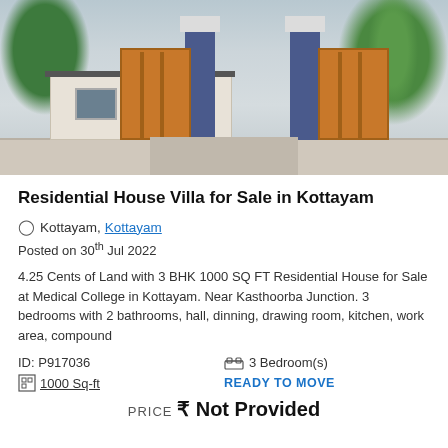[Figure (photo): Exterior photo of a residential house with blue gate pillars, orange wooden gates, white walls, and green trees.]
Residential House Villa for Sale in Kottayam
Kottayam, Kottayam
Posted on 30th Jul 2022
4.25 Cents of Land with 3 BHK 1000 SQ FT Residential House for Sale at Medical College in Kottayam. Near Kasthoorba Junction. 3 bedrooms with 2 bathrooms, hall, dinning, drawing room, kitchen, work area, compound
ID: P917036
3 Bedroom(s)
1000 Sq-ft
READY TO MOVE
PRICE ₹ Not Provided